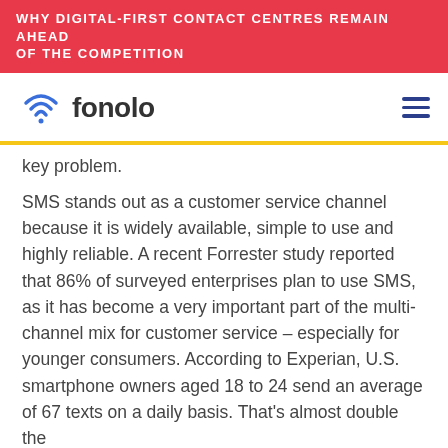WHY DIGITAL-FIRST CONTACT CENTRES REMAIN AHEAD OF THE COMPETITION
[Figure (logo): Fonolo logo with wifi-style icon in blue and the word 'fonolo' in dark text]
key problem.
SMS stands out as a customer service channel because it is widely available, simple to use and highly reliable. A recent Forrester study reported that 86% of surveyed enterprises plan to use SMS, as it has become a very important part of the multi-channel mix for customer service – especially for younger consumers. According to Experian, U.S. smartphone owners aged 18 to 24 send an average of 67 texts on a daily basis. That's almost double the